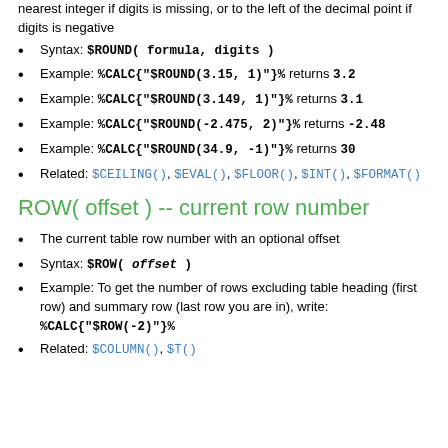nearest integer if digits is missing, or to the left of the decimal point if digits is negative
Syntax: $ROUND( formula, digits )
Example: %CALC{"$ROUND(3.15, 1)"}% returns 3.2
Example: %CALC{"$ROUND(3.149, 1)"}% returns 3.1
Example: %CALC{"$ROUND(-2.475, 2)"}% returns -2.48
Example: %CALC{"$ROUND(34.9, -1)"}% returns 30
Related: $CEILING(), $EVAL(), $FLOOR(), $INT(), $FORMAT()
ROW( offset ) -- current row number
The current table row number with an optional offset
Syntax: $ROW( offset )
Example: To get the number of rows excluding table heading (first row) and summary row (last row you are in), write: %CALC{"$ROW(-2)"}%
Related: $COLUMN(), $T()